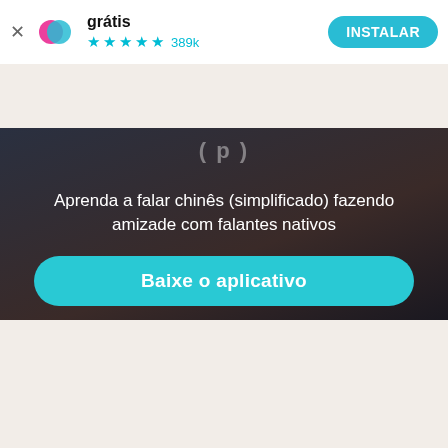[Figure (screenshot): App top bar with close button, app logo (pink/blue circle icon), gratis text, star rating 4.5 stars 389k reviews, and INSTALAR button]
[Figure (photo): Hero banner with dark background photo showing two people, partial text at top, Portuguese text 'Aprenda a falar chinês (simplificado) fazendo amizade com falantes nativos', and teal 'Baixe o aplicativo' button]
[Figure (screenshot): Filter pills row with Chinese flag 'Chinês' dropdown and 'Boise' dropdown]
[Figure (screenshot): Profile card for Daisy from Boise with avatar photo, green online indicator, and message count badge showing 4]